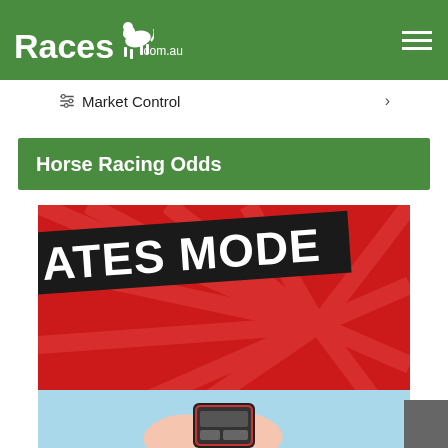[Figure (logo): Races.com.au logo with white horse jockey silhouette on green background, with hamburger menu icon on the right]
Market Control
Horse Racing Odds
[Figure (photo): Red background promotional banner showing 'ATES MODE' text on a dark diagonal banner, with hands holding a smartphone at the bottom]